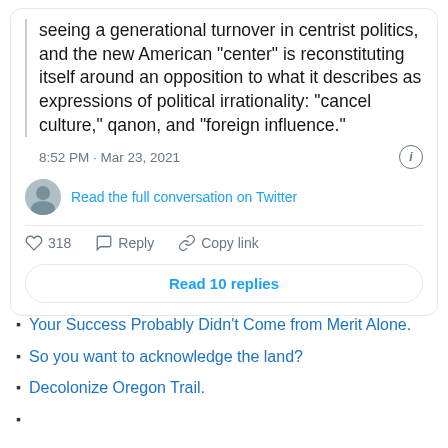[Figure (screenshot): Tweet screenshot showing partial tweet text about generational turnover in centrist politics, timestamp 8:52 PM · Mar 23, 2021, with Read the full conversation on Twitter link, 318 likes, Reply, Copy link actions, and Read 10 replies button.]
Your Success Probably Didn't Come from Merit Alone.
So you want to acknowledge the land?
Decolonize Oregon Trail.
(partial, cut off)